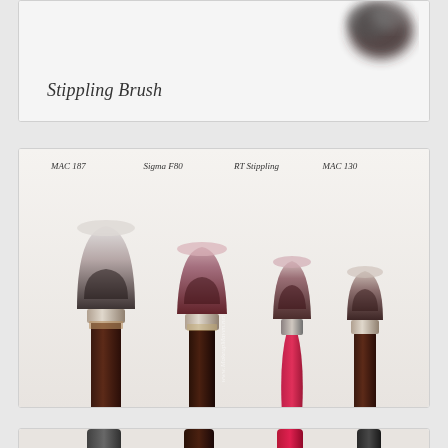[Figure (photo): Top partial card showing a stippling brush close-up (blurred bristles visible at top right) with label 'Stippling Brush']
[Figure (photo): Middle card showing four stippling brushes side by side labeled MAC 187, Sigma F80, RT Stippling, and MAC 130, with brush heads at top and handles below]
[Figure (photo): Bottom partial card showing close-up of four brush handles/ferrules from below with bristles fanned out at bottom]